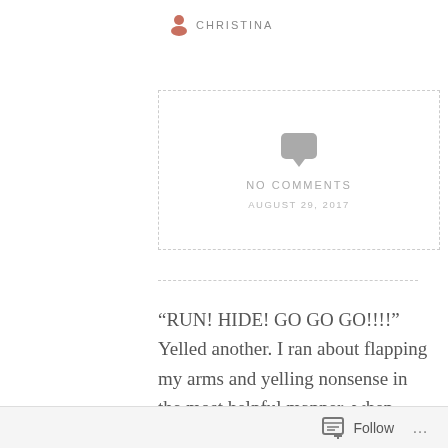CHRISTINA
[Figure (other): Dashed-border box with chat bubble icon, 'NO COMMENTS' text, and date 'AUGUST 29, 2017']
“RUN! HIDE! GO GO GO!!!!” Yelled another. I ran about flapping my arms and yelling nonsense in the most helpful manner, when someone opened the door and a silence fell over us all. ……what would he do? Was he going to throw us all to the
Follow ...